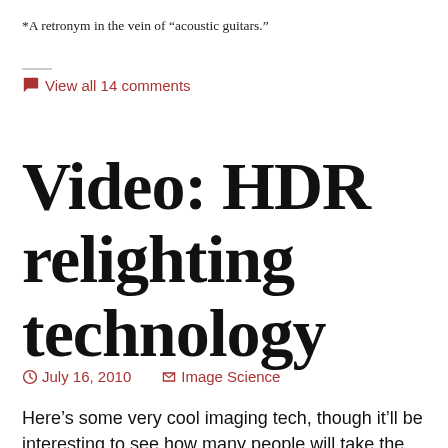*A retronym in the vein of “acoustic guitars.”
💬 View all 14 comments
Video: HDR relighting technology
July 16, 2010    Image Science
Here’s some very cool imaging tech, though it’ll be interesting to see how many people will take the time to create multiple exposures, each with different controlled lighting.